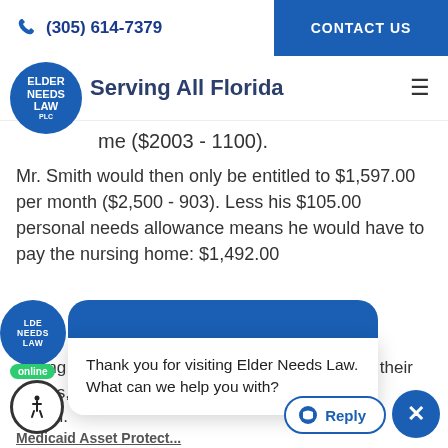(305) 614-7379  CONTACT US
Serving All Florida
me ($2003 - 1100).
Mr. Smith would then only be entitled to $1,597.00 per month ($2,500 - 903). Less his $105.00 personal needs allowance means he would have to pay the nursing home: $1,492.00
Thank you for visiting Elder Needs Law. What can we help you with?
paying $8,500 a month until losing the totality of their assets, they are only paying $1,192 a month.
Medicaid Asset Protect...